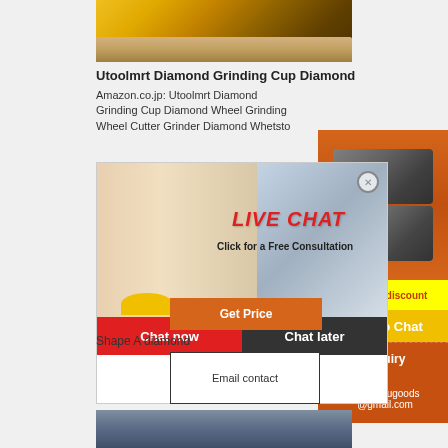[Figure (photo): Yellow construction/crushing machinery on gravel ground]
Utoolmrt Diamond Grinding Cup Diamond
Amazon.co.jp: Utoolmrt Diamond Grinding Cup Diamond Wheel Grinding Wheel Cutter Grinder Diamond Whetsto
[Figure (screenshot): Live Chat popup overlay with female worker in hard hat, LIVE CHAT heading in red italic, 'Click for a Free Consultation' text, red 'Chat now' button and dark 'Chat later' button]
Get Price
Shape A diamond
Email contact
[Figure (screenshot): Orange side panel with machinery images, 'Enjoy 3% discount', 'Click to Chat', 'Enquiry', 'mumumugoods@gmail.com']
[Figure (photo): Industrial machinery/mill equipment in large warehouse]